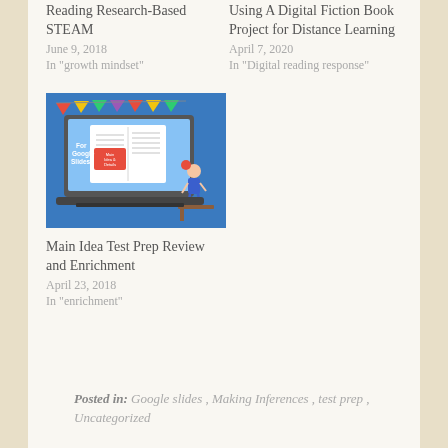Reading Research-Based STEAM
June 9, 2018
In "growth mindset"
Using A Digital Fiction Book Project for Distance Learning
April 7, 2020
In "Digital reading response"
[Figure (illustration): Illustration of a laptop showing an open book with text 'Main Idea & Details', colorful bunting flags, and a cartoon child sitting at a desk. Text on left reads 'For Google Slides'.]
Main Idea Test Prep Review and Enrichment
April 23, 2018
In "enrichment"
Posted in: Google slides, Making Inferences, test prep, Uncategorized